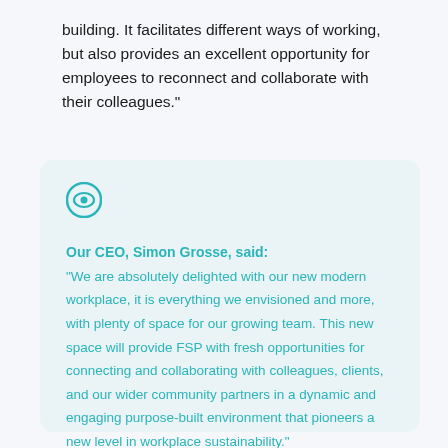building. It facilitates different ways of working, but also provides an excellent opportunity for employees to reconnect and collaborate with their colleagues."
Our CEO, Simon Grosse, said: "We are absolutely delighted with our new modern workplace, it is everything we envisioned and more, with plenty of space for our growing team. This new space will provide FSP with fresh opportunities for connecting and collaborating with colleagues, clients, and our wider community partners in a dynamic and engaging purpose-built environment that pioneers a new level in workplace sustainability."